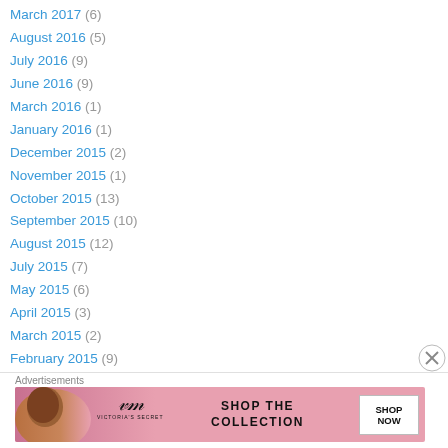March 2017 (6)
August 2016 (5)
July 2016 (9)
June 2016 (9)
March 2016 (1)
January 2016 (1)
December 2015 (2)
November 2015 (1)
October 2015 (13)
September 2015 (10)
August 2015 (12)
July 2015 (7)
May 2015 (6)
April 2015 (3)
March 2015 (2)
February 2015 (9)
[Figure (screenshot): Victoria's Secret advertisement banner with model, VS logo, 'SHOP THE COLLECTION' text and 'SHOP NOW' button]